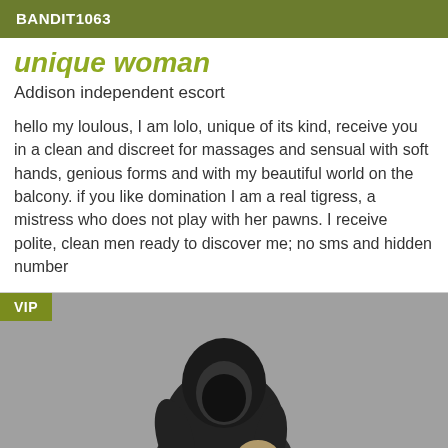BANDIT1063
unique woman
Addison independent escort
hello my loulous, I am lolo, unique of its kind, receive you in a clean and discreet for massages and sensual with soft hands, genious forms and with my beautiful world on the balcony. if you like domination I am a real tigress, a mistress who does not play with her pawns. I receive polite, clean men ready to discover me; no sms and hidden number
[Figure (photo): Black and white photo of a person in a black hoodie with their face obscured, wearing camouflage pants, seated in a posed position. A VIP badge appears in the top-left corner of the image.]